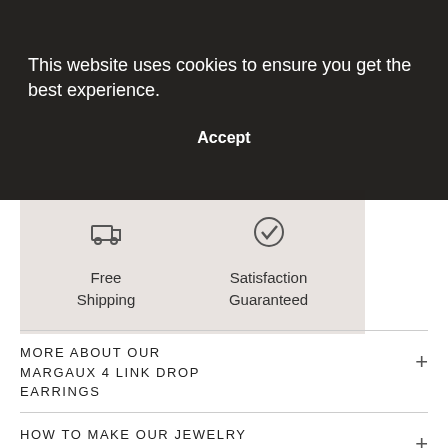This website uses cookies to ensure you get the best experience.
Accept
[Figure (infographic): Free Shipping icon and Satisfaction Guaranteed icon in a beige banner]
MORE ABOUT OUR MARGAUX 4 LINK DROP EARRINGS
HOW TO MAKE OUR JEWELRY LAST